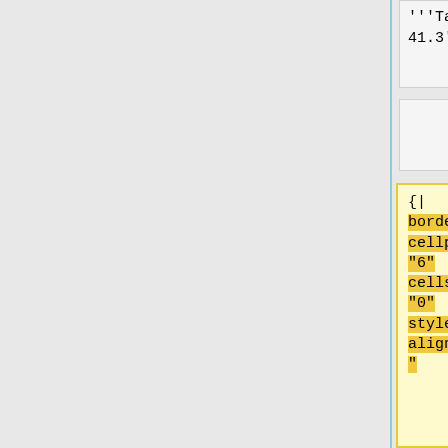'''Table 41.3'''
'''Table 41.3'''
{|
border="1" cellpadding="6" cellspacing="0" style="text-align:center"
'''Please note, these figures are appropriate for installations completed prior to the 3rd amendment of the 17th edition of the wiring regs - for new installation work, see below'''